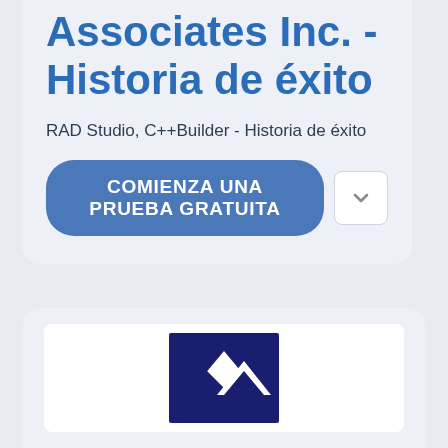Associates Inc. - Historia de éxito
RAD Studio, C++Builder - Historia de éxito
COMIENZA UNA PRUEBA GRATUITA
[Figure (logo): Company logo with dark blue square background and white mountain/chevron shapes]